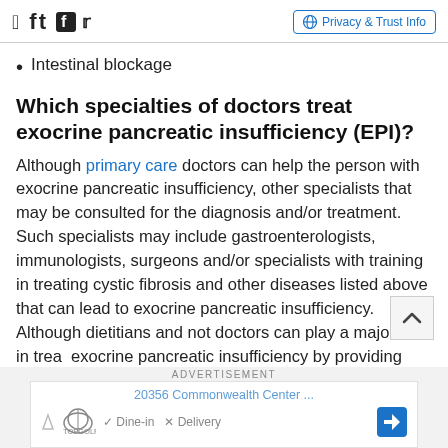Privacy & Trust Info
Intestinal blockage
Which specialties of doctors treat exocrine pancreatic insufficiency (EPI)?
Although primary care doctors can help the person with exocrine pancreatic insufficiency, other specialists that may be consulted for the diagnosis and/or treatment. Such specialists may include gastroenterologists, immunologists, surgeons and/or specialists with training in treating cystic fibrosis and other diseases listed above that can lead to exocrine pancreatic insufficiency. Although dietitians and not doctors can play a major role in treating exocrine pancreatic insufficiency by providing dietary
[Figure (other): Advertisement banner showing Topgolf with Google Maps navigation details including address 20356 Commonwealth Center, Dine-in and Delivery options]